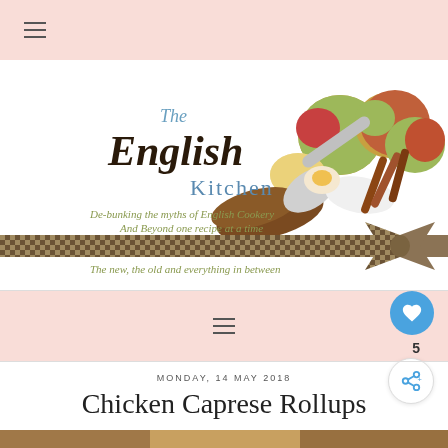☰ (hamburger menu icon)
[Figure (logo): The English Kitchen blog banner logo with apples, spices, and a checkered ribbon. Text: 'The English Kitchen', 'De-bunking the myths of English Cookery And Beyond one recipe at a time', 'The new, the old and everything in between']
☰ (hamburger menu icon, mid-page)
MONDAY, 14 MAY 2018
Chicken Caprese Rollups